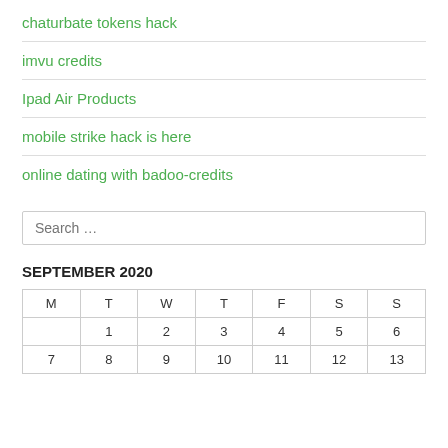chaturbate tokens hack
imvu credits
Ipad Air Products
mobile strike hack is here
online dating with badoo-credits
Search …
SEPTEMBER 2020
| M | T | W | T | F | S | S |
| --- | --- | --- | --- | --- | --- | --- |
|  | 1 | 2 | 3 | 4 | 5 | 6 |
| 7 | 8 | 9 | 10 | 11 | 12 | 13 |